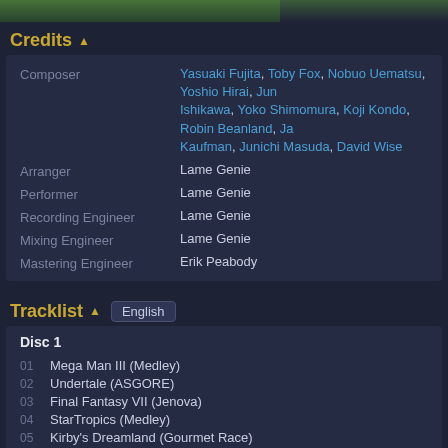Credits
| Role | Name |
| --- | --- |
| Composer | Yasuaki Fujita, Toby Fox, Nobuo Uematsu, Yoshio Hirai, Jun Ishikawa, Yoko Shimomura, Koji Kondo, Robin Beanland, Kaufman, Junichi Masuda, David Wise |
| Arranger | Lame Genie |
| Performer | Lame Genie |
| Recording Engineer | Lame Genie |
| Mixing Engineer | Lame Genie |
| Mastering Engineer | Erik Peabody |
Tracklist
Disc 1
01  Mega Man III (Medley)
02  Undertale (ASGORE)
03  Final Fantasy VII (Jenova)
04  StarTropics (Medley)
05  Kirby's Dreamland (Gourmet Race)
06  Final Fantasy XV (Stand Your Ground [Battle Theme])
07  Super Mario Bros 3 (Overworld)
08  Killer Instinct (Title Theme)
09  Shovel Knight (The Lich Yard)
10  Pokemon Go (Walking Theme)
11  Donkey Kong Country (Aquatic Ambiance)
Disc length